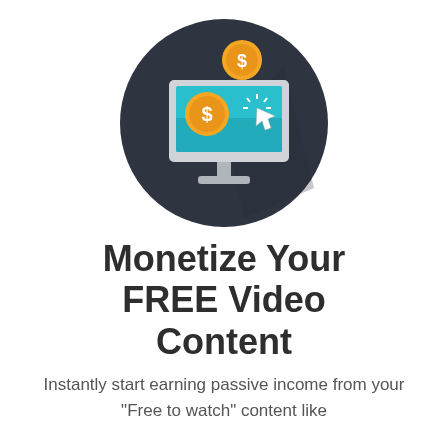[Figure (illustration): Flat design icon of a desktop computer monitor with a teal/blue screen showing a dollar coin and a mouse cursor with click sparkles, plus a second gold dollar coin above the monitor, all set inside a dark charcoal circle with a shadow effect.]
Monetize Your FREE Video Content
Instantly start earning passive income from your "Free to watch" content like